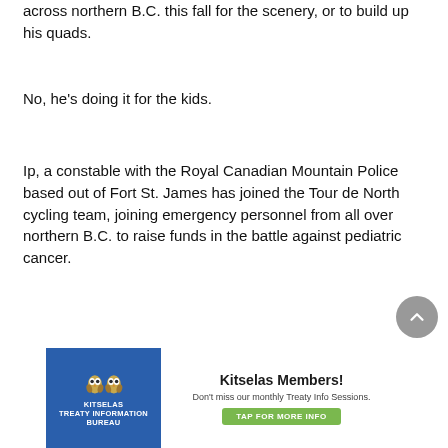across northern B.C. this fall for the scenery, or to build up his quads.
No, he's doing it for the kids.
Ip, a constable with the Royal Canadian Mountain Police based out of Fort St. James has joined the Tour de North cycling team, joining emergency personnel from all over northern B.C. to raise funds in the battle against pediatric cancer.
[Figure (other): Kitselas Treaty Information Bureau advertisement banner. Blue left panel with owl logo and 'KITSELAS' text. White right panel with bold headline 'Kitselas Members!', subtext 'Don't miss our monthly Treaty Info Sessions.', and green button 'TAP FOR MORE INFO'.]